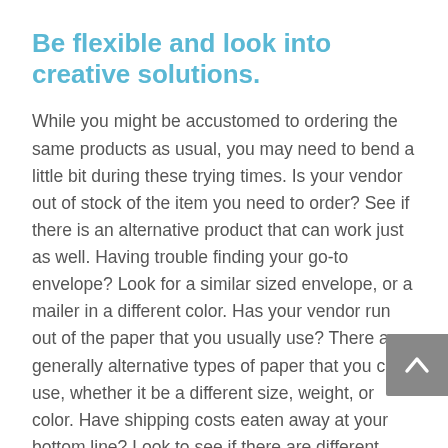Be flexible and look into creative solutions.
While you might be accustomed to ordering the same products as usual, you may need to bend a little bit during these trying times. Is your vendor out of stock of the item you need to order? See if there is an alternative product that can work just as well. Having trouble finding your go-to envelope? Look for a similar sized envelope, or a mailer in a different color. Has your vendor run out of the paper that you usually use? There are generally alternative types of paper that you can use, whether it be a different size, weight, or color. Have shipping costs eaten away at your bottom line? Look to see if there are different ways to ship the product.